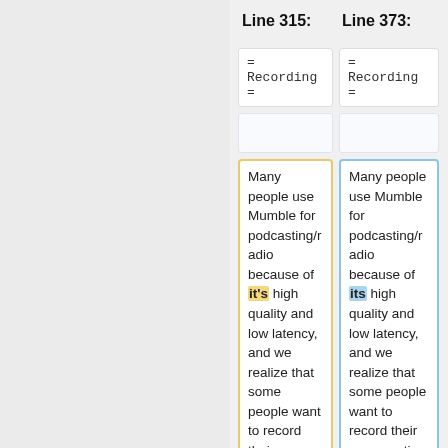Line 315:
Line 373:
= Recording =
= Recording =
Many people use Mumble for podcasting/radio because of it's high quality and low latency, and we realize that some people want to record their conversation on Mumble
Many people use Mumble for podcasting/radio because of its high quality and low latency, and we realize that some people want to record their conversation on Mumble